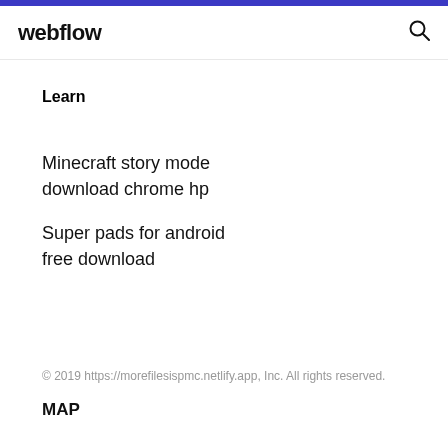webflow
Learn
Minecraft story mode download chrome hp
Super pads for android free download
© 2019 https://morefilesispmc.netlify.app, Inc. All rights reserved.
MAP